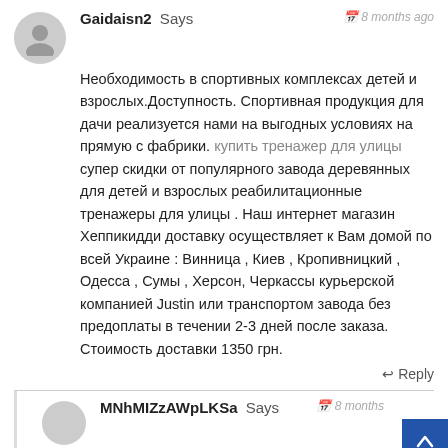Gaidaisn2 Says — 8 months ago
Необходимость в спортивных комплексах детей и взрослых.Доступность. Спортивная продукция для дачи реализуется нами на выгодных условиях на прямую с фабрики. купить тренажер для улицы супер скидки от популярного завода деревянных для детей и взрослых реабилитационные тренажеры для улицы . Наш интернет магазин Хеппикидди доставку осуществляет к Вам домой по всей Украине : Винница , Киев , Кропивницкий , Одесса , Сумы , Херсон, Черкассы курьерской компанией Justin или транспортом завода без предоплаты в течении 2-3 дней после заказа. Стоимость доставки 1350 грн.
Reply
MNhMIZzAWpLKSa Says — 8 months
VBwhTgrEHXix